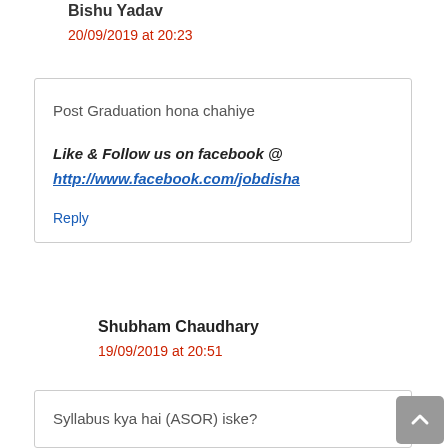Bishu Yadav
20/09/2019 at 20:23
Post Graduation hona chahiye
Like & Follow us on facebook @ http://www.facebook.com/jobdisha
Reply
Shubham Chaudhary
19/09/2019 at 20:51
Syllabus kya hai (ASOR) iske?